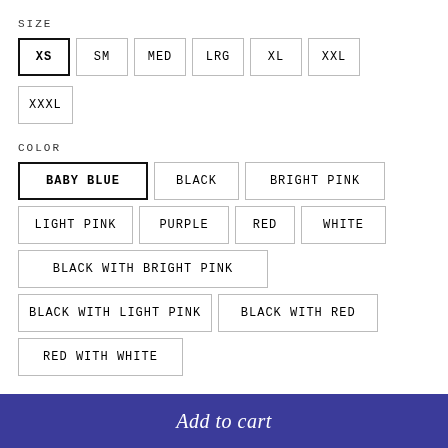SIZE
XS (selected), SM, MED, LRG, XL, XXL
XXXL
COLOR
BABY BLUE (selected), BLACK, BRIGHT PINK
LIGHT PINK, PURPLE, RED, WHITE
BLACK WITH BRIGHT PINK
BLACK WITH LIGHT PINK, BLACK WITH RED
RED WITH WHITE
Add to cart